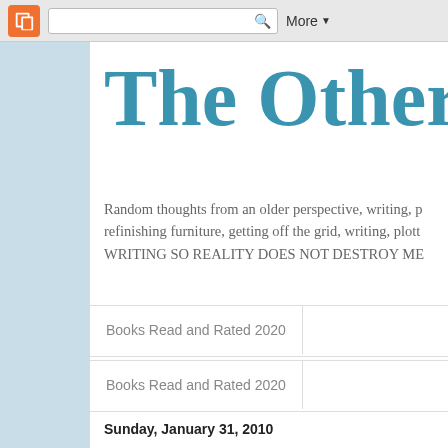Blogger navigation bar with search box and More button
The Other S
Random thoughts from an older perspective, writing, p... refinishing furniture, getting off the grid, writing, plott... WRITING SO REALITY DOES NOT DESTROY ME
Books Read and Rated 2020
Books Read and Rated 2020
Sunday, January 31, 2010